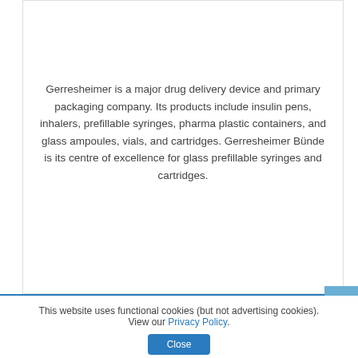Gerresheimer is a major drug delivery device and primary packaging company. Its products include insulin pens, inhalers, prefillable syringes, pharma plastic containers, and glass ampoules, vials, and cartridges. Gerresheimer Bünde is its centre of excellence for glass prefillable syringes and cartridges.
[Figure (other): Blue rounded rectangle button labeled VIEW FULL PROFILE]
This website uses functional cookies (but not advertising cookies). View our Privacy Policy.
[Figure (other): Blue Close button]